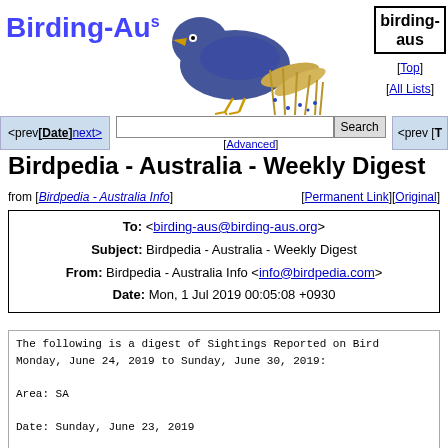[Figure (illustration): Birding-Aus logo with a blue bird illustration and the text Birding-Aus with a superscript S]
birding-aus [Top] [All Lists]
<prev [Date] next>  [Advanced]  <prev [T
Birdpedia - Australia - Weekly Digest
from [Birdpedia - Australia Info]  [Permanent Link][Original]
| To: | <birding-aus@birding-aus.org> |
| Subject: | Birdpedia - Australia - Weekly Digest |
| From: | Birdpedia - Australia Info <info@birdpedia.com> |
| Date: | Mon, 1 Jul 2019 00:05:08 +0930 |
The following is a digest of Sightings Reported on Bird Monday, June 24, 2019 to Sunday, June 30, 2019:

Area: SA

Date: Sunday, June 23, 2019

Location: On our Rockleigh property